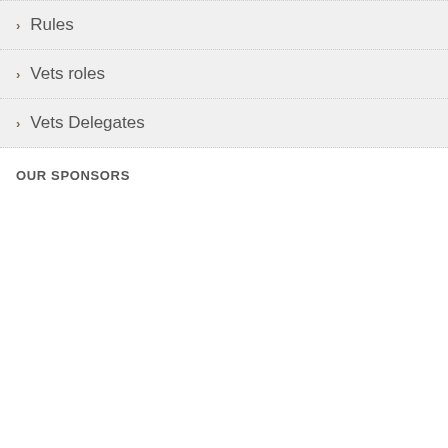Rules
Vets roles
Vets Delegates
OUR SPONSORS